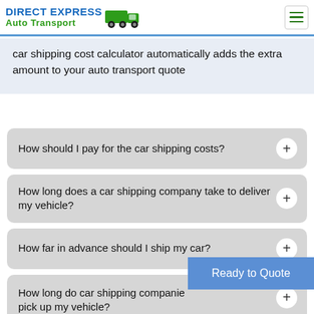DIRECT EXPRESS Auto Transport
car shipping cost calculator automatically adds the extra amount to your auto transport quote
How should I pay for the car shipping costs?
How long does a car shipping company take to deliver my vehicle?
How far in advance should I ship my car?
How long do car shipping companies pick up my vehicle?
Ready to Quote